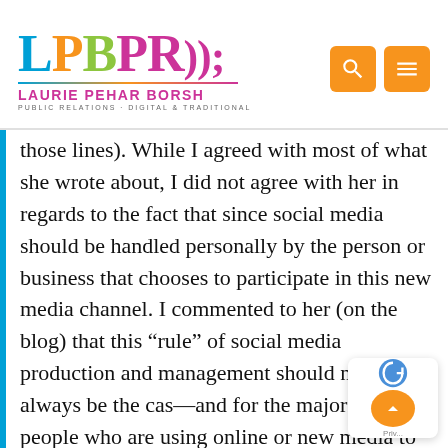[Figure (logo): LPBPR logo with colorful letters and text 'LAURIE PEHAR BORSH PUBLIC RELATIONS - DIGITAL & TRADITIONAL']
those lines). While I agreed with most of what she wrote about, I did not agree with her in regards to the fact that since social media should be handled personally by the person or business that chooses to participate in this new media channel. I commented to her (on the blog) that this “rule” of social media production and management should not always be the cas—and for the majority of people who are using online or new media to promote their